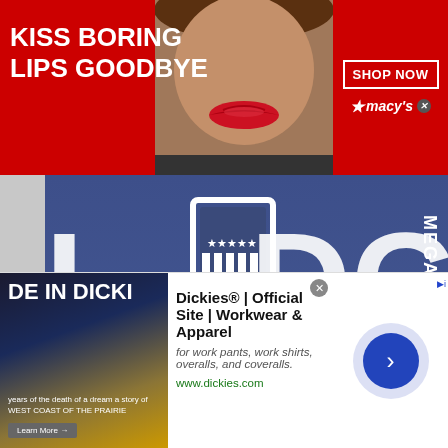[Figure (screenshot): Macy's advertisement banner with red background, woman's face with red lips, 'KISS BORING LIPS GOODBYE' text, SHOP NOW button, and Macy's star logo]
[Figure (screenshot): Lodge Magazine background with blue-purple illustrated design showing large letters L, D, G, E and MEGAZINE text with stars and shield emblem]
[Figure (screenshot): Pop-up advertisement overlay: '40% off Womens Clothing' - 'Save 40% now on women clothing at Ashley Stewart' with link bit.ly/2KRZr8u]
[Figure (screenshot): Dickies official site advertisement: 'DE IN DICKI' book cover image on left, 'Dickies® | Official Site | Workwear & Apparel' title, description 'for work pants, work shirts, overalls, and coveralls.', www.dickies.com URL, blue circle arrow button on right]